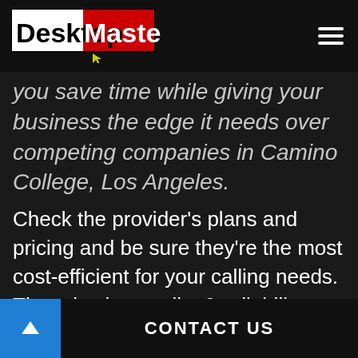[Figure (logo): DesktopMasters logo — white block with 'Desktop' in black bold and red block with 'Masters' in white bold, with a yellow cursor arrow below]
you save time while giving your business the edge it needs over competing companies in Camino College, Los Angeles.
Check the provider’s plans and pricing and be sure they’re the most cost-efficient for your calling needs. There is also quality & reliability, portability, customer support, and a satisfaction guarantee; all key factors that may be clinchers or deal-breakers when going through the process.